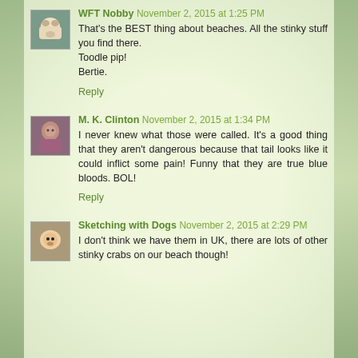WFT Nobby November 2, 2015 at 1:25 PM
That's the BEST thing about beaches. All the stinky stuff you find there.
Toodle pip!
Bertie.
Reply
M. K. Clinton November 2, 2015 at 1:34 PM
I never knew what those were called. It's a good thing that they aren't dangerous because that tail looks like it could inflict some pain! Funny that they are true blue bloods. BOL!
Reply
Sketching with Dogs November 2, 2015 at 2:29 PM
I don't think we have them in UK, there are lots of other stinky crabs on our beach though!